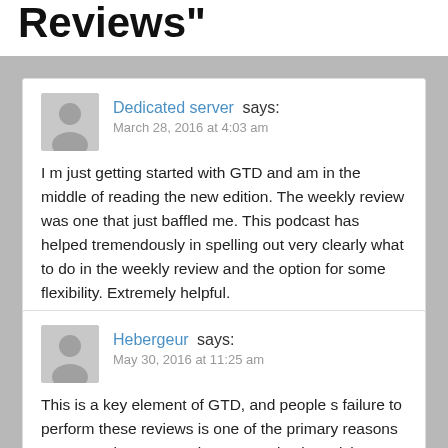Reviews"
Dedicated server says:
March 28, 2016 at 4:03 am
I m just getting started with GTD and am in the middle of reading the new edition. The weekly review was one that just baffled me. This podcast has helped tremendously in spelling out very clearly what to do in the weekly review and the option for some flexibility. Extremely helpful.
Hebergeur says:
May 30, 2016 at 11:25 am
This is a key element of GTD, and people s failure to perform these reviews is one of the primary reasons most people s personal GTD practise languishes or fails.